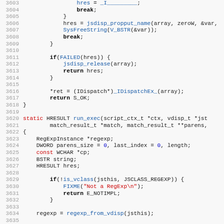[Figure (screenshot): Source code listing showing C/C++ code lines 3603-3635, featuring functions like jsdisp_propput_name, jsdisp_release, run_exec, regexp_from_vdisp, with syntax highlighting in blue for function names, red for keywords const/static/FIXME strings, bold for return/break/if keywords, and gray line numbers.]